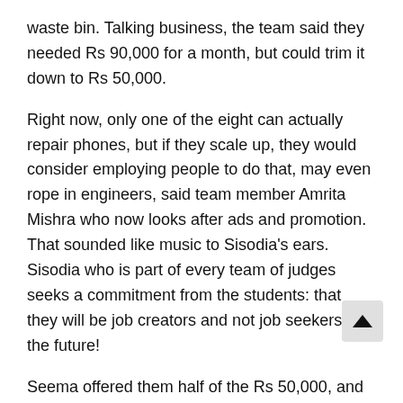waste bin. Talking business, the team said they needed Rs 90,000 for a month, but could trim it down to Rs 50,000.
Right now, only one of the eight can actually repair phones, but if they scale up, they would consider employing people to do that, may even rope in engineers, said team member Amrita Mishra who now looks after ads and promotion. That sounded like music to Sisodia's ears. Sisodia who is part of every team of judges seeks a commitment from the students: that they will be job creators and not job seekers in the future!
Seema offered them half of the Rs 50,000, and threw in mentorship. Nitin committed the remaining amount, and internship opportunities to the entire team.
Another group of students, the Team Techup has